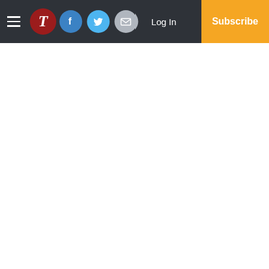T | Facebook | Twitter | Email | Log In | Subscribe
Horticulture as psychiatric therapy subject of next